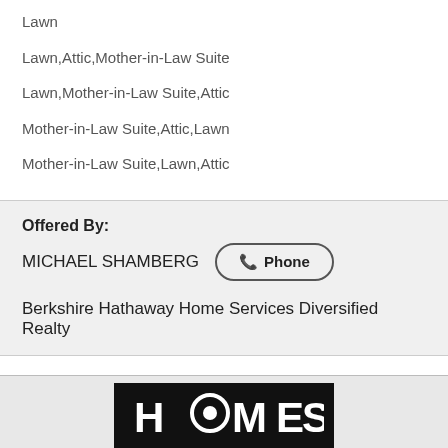Lawn
Lawn,Attic,Mother-in-Law Suite
Lawn,Mother-in-Law Suite,Attic
Mother-in-Law Suite,Attic,Lawn
Mother-in-Law Suite,Lawn,Attic
Offered By:
MICHAEL SHAMBERG
Berkshire Hathaway Home Services Diversified Realty
[Figure (logo): Homes.com logo on black background]